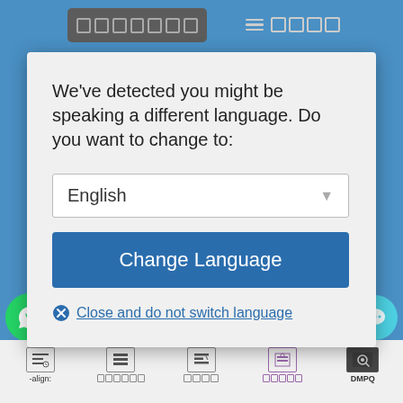[Figure (screenshot): Website navigation bar with blurred/redacted text in grey box and hamburger menu with blurred text, blue background]
We've detected you might be speaking a different language. Do you want to change to:
[Figure (screenshot): Dropdown selector showing 'English' with a grey down-arrow triangle]
[Figure (screenshot): Blue 'Change Language' button]
✕ Close and do not switch language
[Figure (screenshot): Bottom section of webpage with WhatsApp icon, blurred Hindi/Devanagari text '2018', chat bubble icon, and bottom navigation icons bar with blurred labels and DMPQ text]